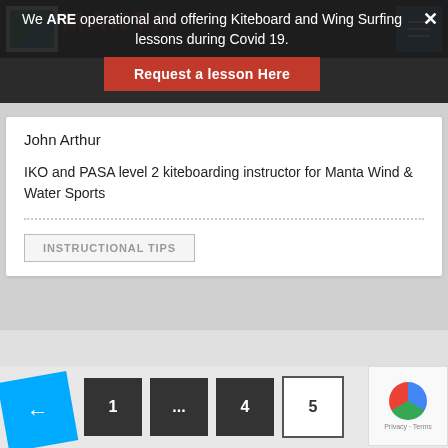We ARE operational and offering Kiteboard and Wing Surfing lessons during Covid 19.
Request a lesson Here
John Arthur
IKO and PASA level 2 kiteboarding instructor for Manta Wind & Water Sports
INSTRUCTIONAL TIPS
← 1 ... 4 5